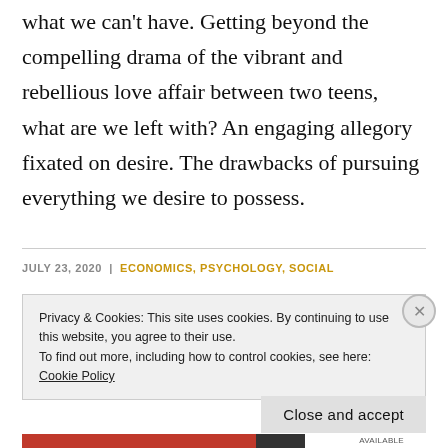what we can't have. Getting beyond the compelling drama of the vibrant and rebellious love affair between two teens, what are we left with? An engaging allegory fixated on desire. The drawbacks of pursuing everything we desire to possess.
JULY 23, 2020  |  ECONOMICS, PSYCHOLOGY, SOCIAL
Privacy & Cookies: This site uses cookies. By continuing to use this website, you agree to their use.
To find out more, including how to control cookies, see here: Cookie Policy